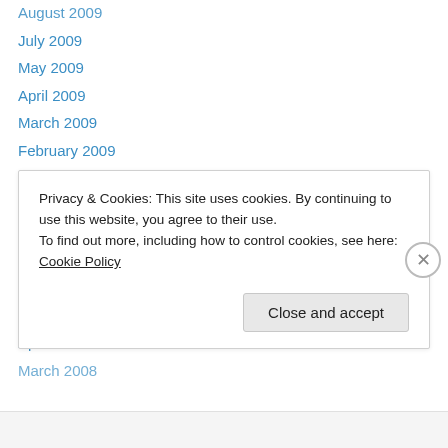August 2009
July 2009
May 2009
April 2009
March 2009
February 2009
January 2009
September 2008
August 2008
July 2008
June 2008
May 2008
April 2008
March 2008
Privacy & Cookies: This site uses cookies. By continuing to use this website, you agree to their use.
To find out more, including how to control cookies, see here: Cookie Policy
Close and accept